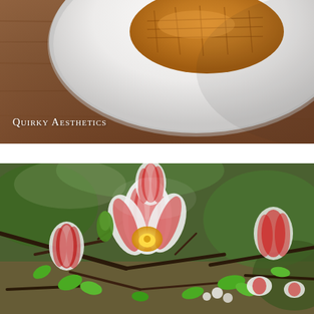[Figure (photo): Close-up photograph of a pastry or waffle on a white plate on a wooden table surface, warm tones]
Quirky Aesthetics
[Figure (photo): Close-up photograph of red and white striped tulips blooming among bare branches and green leaves in a garden]